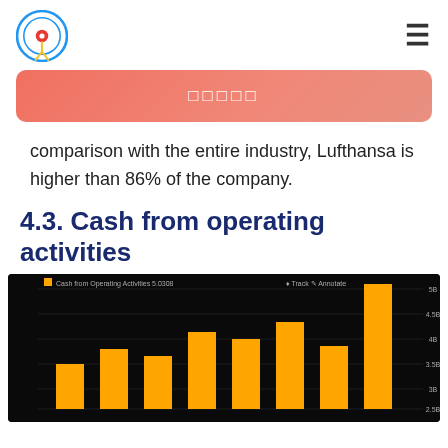Logo and navigation
□□□□□
comparison with the entire industry, Lufthansa is higher than 86% of the company.
4.3. Cash from operating activities
[Figure (bar-chart): Bar chart showing Cash from Operating Activities over multiple years on a dark background. Bars are orange/yellow colored showing an overall upward trend.]